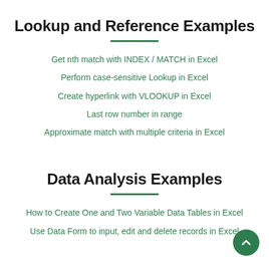Lookup and Reference Examples
Get nth match with INDEX / MATCH in Excel
Perform case-sensitive Lookup in Excel
Create hyperlink with VLOOKUP in Excel
Last row number in range
Approximate match with multiple criteria in Excel
Data Analysis Examples
How to Create One and Two Variable Data Tables in Excel
Use Data Form to input, edit and delete records in Excel